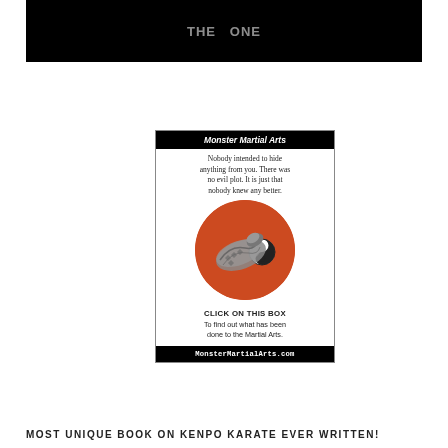[Figure (illustration): Black banner/header image at top of page, partially visible, dark background with faint white text]
[Figure (infographic): Monster Martial Arts advertisement box. Header reads 'Monster Martial Arts' in bold italic white on black. Body text: 'Nobody intended to hide anything from you. There was no evil plot. It is just that nobody knew any better.' Center image: red circle with snake and yin-yang symbol. Bold text: 'CLICK ON THIS BOX To find out what has been done to the Martial Arts.' Footer: 'MonsterMartialArts.com' in black background white monospace text.]
MOST UNIQUE BOOK ON KENPO KARATE EVER WRITTEN!